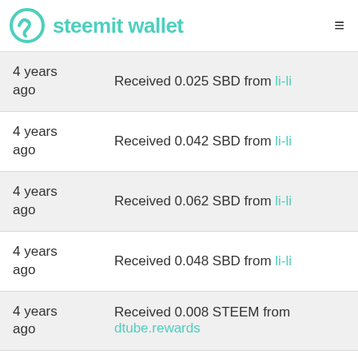steemit wallet
4 years ago | Received 0.025 SBD from li-li
4 years ago | Received 0.042 SBD from li-li
4 years ago | Received 0.062 SBD from li-li
4 years ago | Received 0.048 SBD from li-li
4 years ago | Received 0.008 STEEM from dtube.rewards
4 years ago | Claim rewards: 0.610 STEEM, 0.628 SBD and 1.189 STEEM POWER